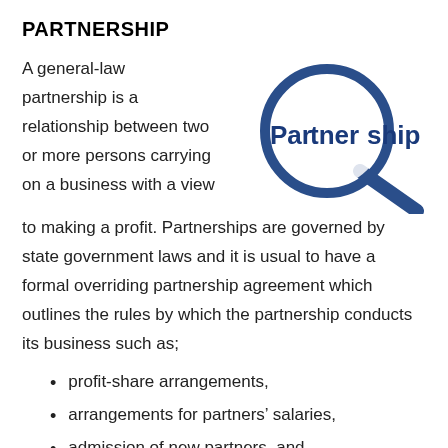PARTNERSHIP
A general-law partnership is a relationship between two or more persons carrying on a business with a view to making a profit. Partnerships are governed by state government laws and it is usual to have a formal overriding partnership agreement which outlines the rules by which the partnership conducts its business such as;
[Figure (illustration): Magnifying glass over the word 'Partnership' in bold blue text, with the magnifying glass lens highlighting the middle portion 'tner' of the word.]
profit-share arrangements,
arrangements for partners' salaries,
admission of new partners, and
retirement of partners.